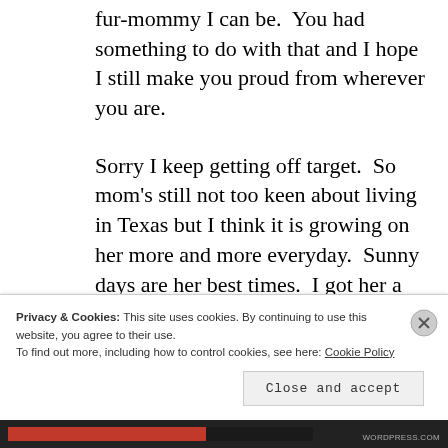fur-mommy I can be.  You had something to do with that and I hope I still make you proud from wherever you are.
Sorry I keep getting off target.  So mom's still not too keen about living in Texas but I think it is growing on her more and more everyday.  Sunny days are her best times.  I got her a necklace with a little sun to remind her of the better
Privacy & Cookies: This site uses cookies. By continuing to use this website, you agree to their use.
To find out more, including how to control cookies, see here: Cookie Policy
Close and accept